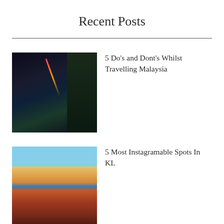Recent Posts
[Figure (photo): Night cityscape photo — a person in the foreground with city lights, neon streaks, and a dark skyline in the background]
5 Do’s and Dont’s Whilst Travelling Malaysia
[Figure (photo): A woman standing in front of a colorful ornate Hindu temple with bright painted pillars and sculptures]
5 Most Instagramable Spots In KL
[Figure (photo): Aerial or elevated view of a lush green forested area with a teal-colored body of water or pool below]
Exploring Shikoku - a Guide for the Adventurous traveller